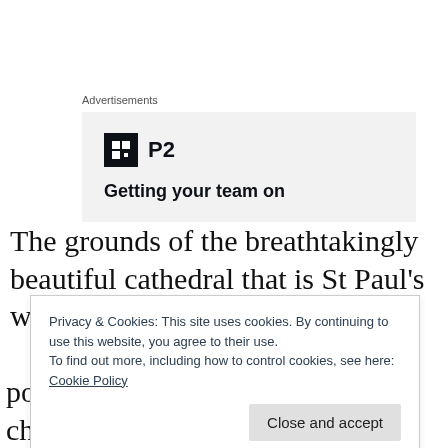Advertisements
[Figure (other): Advertisement banner with a dark square icon containing a grid/layout symbol, bold text 'P2', and tagline 'Getting your team on']
The grounds of the breathtakingly beautiful cathedral that is St Paul's were teeming with
Privacy & Cookies: This site uses cookies. By continuing to use this website, you agree to their use.
To find out more, including how to control cookies, see here:
Cookie Policy
Close and accept
policemen, reporters, students, church clerics